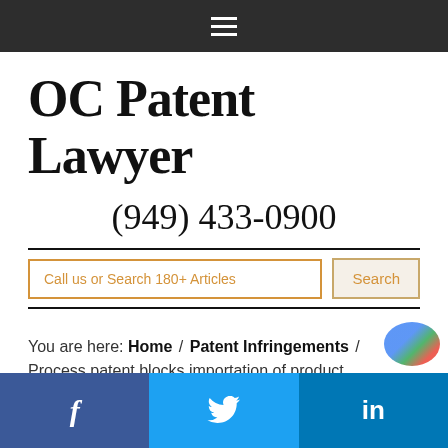≡
OC Patent Lawyer
(949) 433-0900
Call us or Search 180+ Articles
You are here: Home / Patent Infringements / Process patent blocks importation of product
[Figure (screenshot): Social share buttons: Facebook (f), Twitter (bird), LinkedIn (in)]